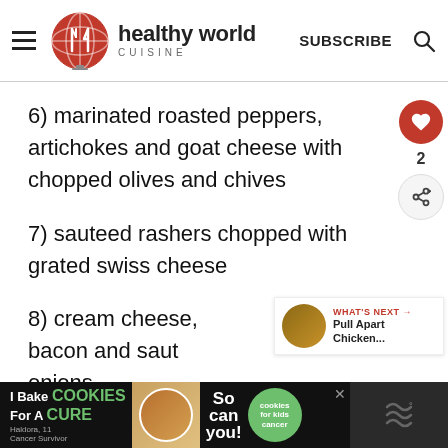healthy world CUISINE - SUBSCRIBE
6) marinated roasted peppers, artichokes and goat cheese with chopped olives and chives
7) sauteed rashers chopped with grated swiss cheese
8) cream cheese, bacon and sauteed onions
[Figure (screenshot): What's Next widget showing Pull Apart Chicken article thumbnail]
[Figure (screenshot): Advertisement banner: I Bake COOKIES For A CURE - So can you! with Cookies for Kids Cancer badge]